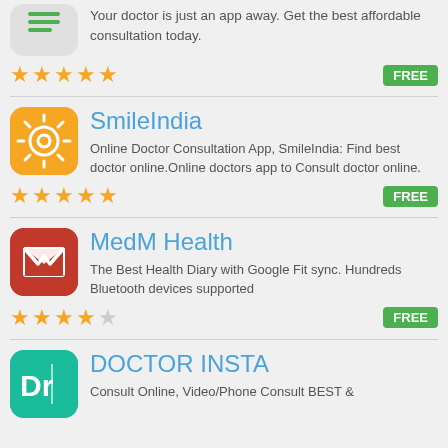Your doctor is just an app away. Get the best affordable consultation today.
[Figure (other): 5 gold stars rating]
FREE
[Figure (logo): SmileIndia app icon - orange circle with spiral sun design]
SmileIndia
Online Doctor Consultation App, SmileIndia: Find best doctor online.Online doctors app to Consult doctor online.
[Figure (other): 5 gold stars rating]
FREE
[Figure (logo): MedM Health app icon - red square with white envelope/M design]
MedM Health
The Best Health Diary with Google Fit sync. Hundreds Bluetooth devices supported
[Figure (other): 4 gold stars and 1 grey star rating]
FREE
[Figure (logo): DOCTOR INSTA app icon - teal square with Dr text]
DOCTOR INSTA
Consult Online, Video/Phone Consult BEST &